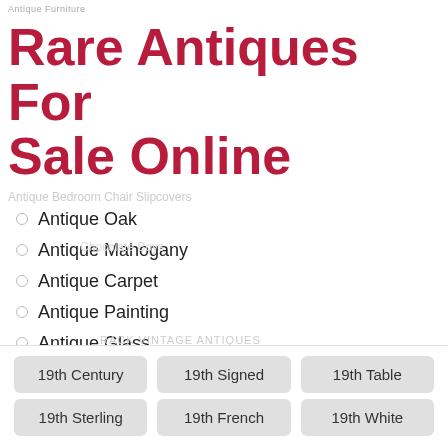Antique Furniture
Rare Antiques For Sale Online
Antique Oak
Antique Mahogany
Antique Carpet
Antique Painting
Antique Glass
Antique Plate
19th Century | 19th Signed | 19th Table | 19th Sterling | 19th French | 19th White